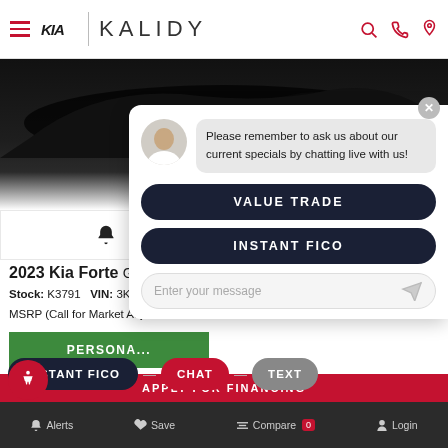Kalidy Kia dealership website header with hamburger menu, Kia logo, KALIDY brand name, and search/phone/location icons
[Figure (photo): Partially visible dark car (covered/silhouetted) on a dark background]
2023 Kia Forte GT
Stock: K3791   VIN: 3KPF44A...
MSRP (Call for Market Adj...)
[Figure (screenshot): Chat overlay with avatar of a female agent, message bubble reading 'Please remember to ask us about our current specials by chatting live with us!', VALUE TRADE button, INSTANT FICO button, and message input field]
Please remember to ask us about our current specials by chatting live with us!
VALUE TRADE
INSTANT FICO
Enter your message
PERSONALIZE
APPLY FOR FINANCING
INSTANT FICO
CHAT
TEXT
GET PRE-QUALIFIED
Alerts   Save   Compare 0   Login